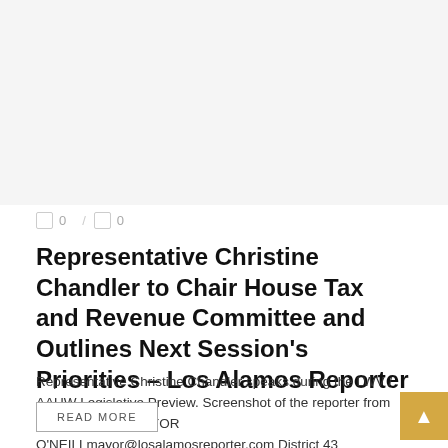[Figure (screenshot): Blank/white image area at top of article card]
🔖 0 / 🔖 0
Representative Christine Chandler to Chair House Tax and Revenue Committee and Outlines Next Session's Priorities – Los Alamos Reporter
Representative Christine Chandler speaks during the LWV / AAUW Legislative Preview. Screenshot of the reporter from Los Alamos BY MAYOR O'NEILLmayor@losalamosreporter.com District 43 Representative Christine Chandler ...
READ MORE